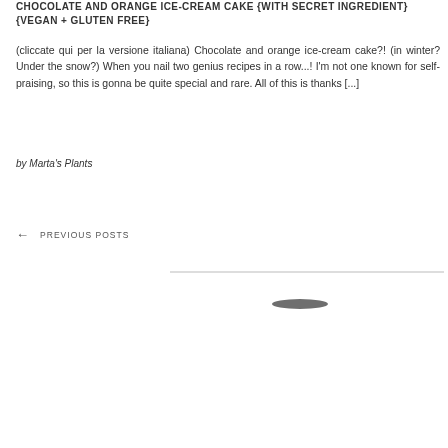CHOCOLATE AND ORANGE ICE-CREAM CAKE {WITH SECRET INGREDIENT} {VEGAN + GLUTEN FREE}
(cliccate qui per la versione italiana) Chocolate and orange ice-cream cake?! (in winter? Under the snow?) When you nail two genius recipes in a row...! I'm not one known for self-praising, so this is gonna be quite special and rare. All of this is thanks [...]
by Marta's Plants
← PREVIOUS POSTS
[Figure (other): Navigation divider line and small logo/icon graphic at bottom center of page]